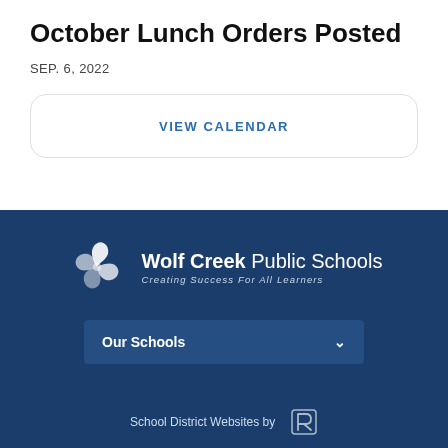October Lunch Orders Posted
SEP. 6, 2022
VIEW CALENDAR
[Figure (logo): Wolf Creek Public Schools logo with pinwheel swirl graphic and tagline Creating Success For All Learners]
Our Schools
School District Websites by [Rethink Group logo]